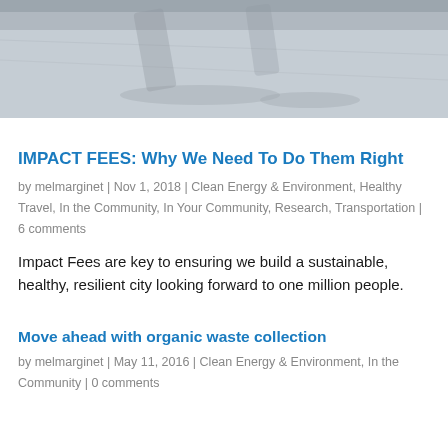[Figure (photo): Aerial or ground-level photo of people walking on a paved surface with shadows visible]
IMPACT FEES: Why We Need To Do Them Right
by melmarginet | Nov 1, 2018 | Clean Energy & Environment, Healthy Travel, In the Community, In Your Community, Research, Transportation | 6 comments
Impact Fees are key to ensuring we build a sustainable, healthy, resilient city looking forward to one million people.
Move ahead with organic waste collection
by melmarginet | May 11, 2016 | Clean Energy & Environment, In the Community | 0 comments